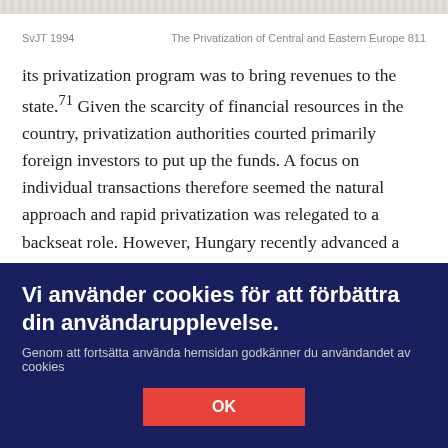SvJT 1994    The Privatization of Central and Eastern Europe 811
its privatization program was to bring revenues to the state.71 Given the scarcity of financial resources in the country, privatization authorities courted primarily foreign investors to put up the funds. A focus on individual transactions therefore seemed the natural approach and rapid privatization was relegated to a backseat role. However, Hungary recently advanced a scheme for
Vi använder cookies för att förbättra din användarupplevelse.
Genom att fortsätta använda hemsidan godkänner du användandet av cookies
OK